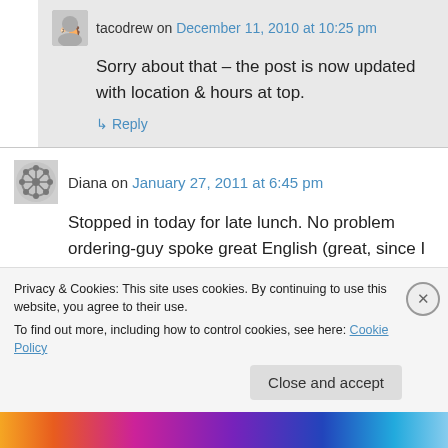tacodrew on December 11, 2010 at 10:25 pm
Sorry about that – the post is now updated with location & hours at top.
↳ Reply
Diana on January 27, 2011 at 6:45 pm
Stopped in today for late lunch. No problem ordering-guy spoke great English (great, since I don't speak much Spanish!). Food was worth the
Privacy & Cookies: This site uses cookies. By continuing to use this website, you agree to their use.
To find out more, including how to control cookies, see here: Cookie Policy
Close and accept